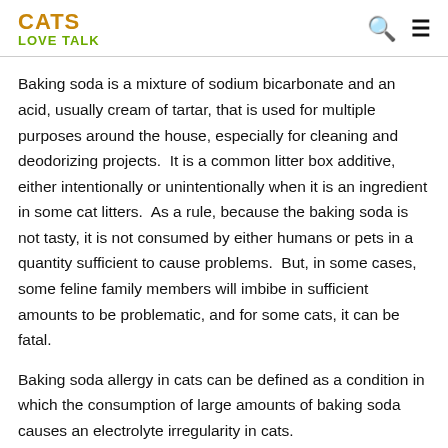CATS LOVE TALK
Baking soda is a mixture of sodium bicarbonate and an acid, usually cream of tartar, that is used for multiple purposes around the house, especially for cleaning and deodorizing projects.  It is a common litter box additive, either intentionally or unintentionally when it is an ingredient in some cat litters.  As a rule, because the baking soda is not tasty, it is not consumed by either humans or pets in a quantity sufficient to cause problems.  But, in some cases, some feline family members will imbibe in sufficient amounts to be problematic, and for some cats, it can be fatal.
Baking soda allergy in cats can be defined as a condition in which the consumption of large amounts of baking soda causes an electrolyte irregularity in cats.